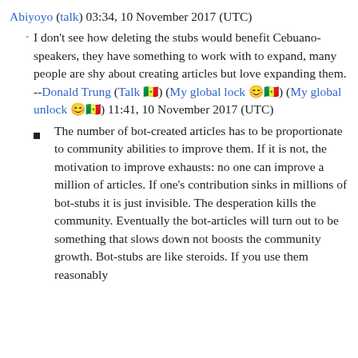Abiyoyo (talk) 03:34, 10 November 2017 (UTC)
I don't see how deleting the stubs would benefit Cebuano-speakers, they have something to work with to expand, many people are shy about creating articles but love expanding them. --Donald Trung (Talk 🇸🇳) (My global lock 🔒🇸🇳) (My global unlock 🔓🇸🇳) 11:41, 10 November 2017 (UTC)
The number of bot-created articles has to be proportionate to community abilities to improve them. If it is not, the motivation to improve exhausts: no one can improve a million of articles. If one's contribution sinks in millions of bot-stubs it is just invisible. The desperation kills the community. Eventually the bot-articles will turn out to be something that slows down not boosts the community growth. Bot-stubs are like steroids. If you use them reasonably